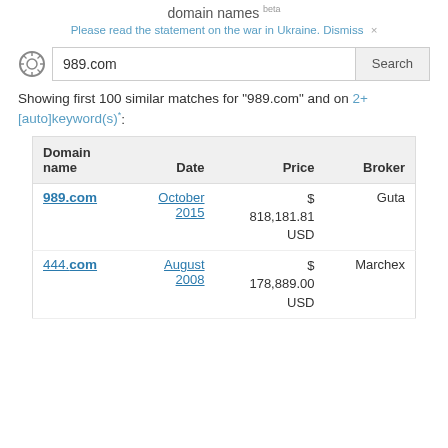domain names beta
Please read the statement on the war in Ukraine. Dismiss ×
Search input: 989.com
Showing first 100 similar matches for "989.com" and on 2+ [auto]keyword(s)*:
| Domain name | Date | Price | Broker |
| --- | --- | --- | --- |
| 989.com | October 2015 | $ 818,181.81 USD | Guta |
| 444.com | August 2008 | $ 178,889.00 USD | Marchex |